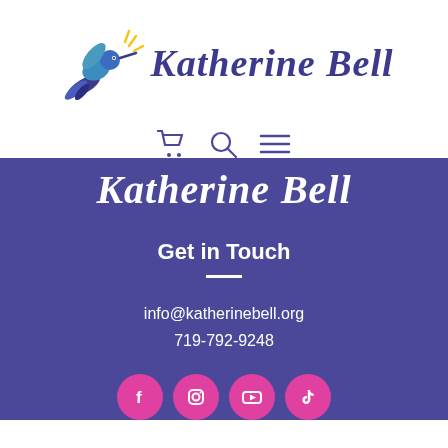[Figure (logo): Katherine Bell logo with hummingbird illustration and italic serif text 'Katherine Bell']
[Figure (infographic): Navigation icons: shopping cart, search magnifier, hamburger menu]
Katherine Bell
Get in Touch
info@katherinebell.org
719-792-9248
[Figure (infographic): Social media icons in pink circles: Facebook, Instagram, YouTube, TikTok]